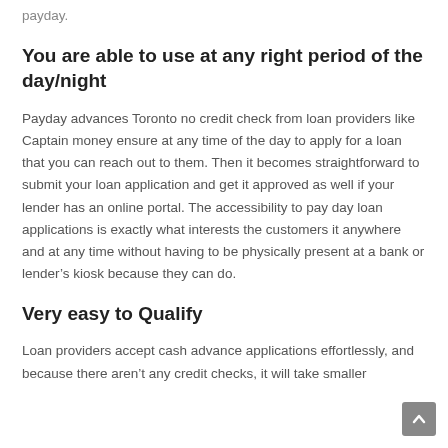payday.
You are able to use at any right period of the day/night
Payday advances Toronto no credit check from loan providers like Captain money ensure at any time of the day to apply for a loan that you can reach out to them. Then it becomes straightforward to submit your loan application and get it approved as well if your lender has an online portal. The accessibility to pay day loan applications is exactly what interests the customers it anywhere and at any time without having to be physically present at a bank or lender’s kiosk because they can do.
Very easy to Qualify
Loan providers accept cash advance applications effortlessly, and because there aren’t any credit checks, it will take smaller